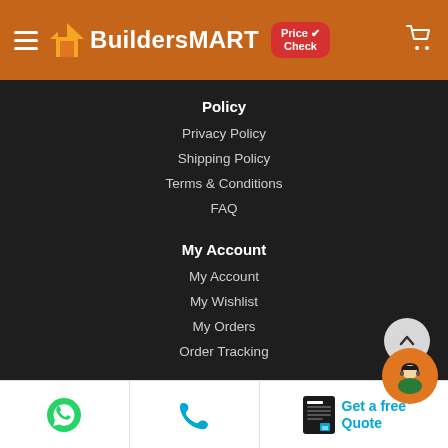BuildersMART
Policy
Privacy Policy
Shipping Policy
Terms & Conditions
FAQ
My Account
My Account
My Wishlist
My Orders
Order Tracking
Get a free Quote